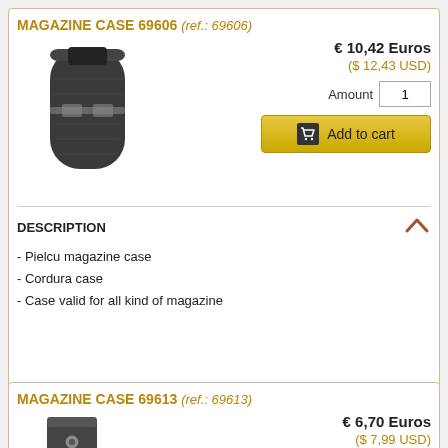MAGAZINE CASE 69606 (ref.: 69606)
[Figure (photo): Black cordura magazine case, rounded rectangular shape with elastic bands]
€ 10,42 Euros
($ 12,43 USD)
Amount 1
Add to cart
DESCRIPTION
- Pielcu magazine case
- Cordura case
- Case valid for all kind of magazine
MAGAZINE CASE 69613 (ref.: 69613)
[Figure (photo): Black magazine case with metal button]
€ 6,70 Euros
($ 7,99 USD)
Amount 1
Add to cart
Contact by Whataspp